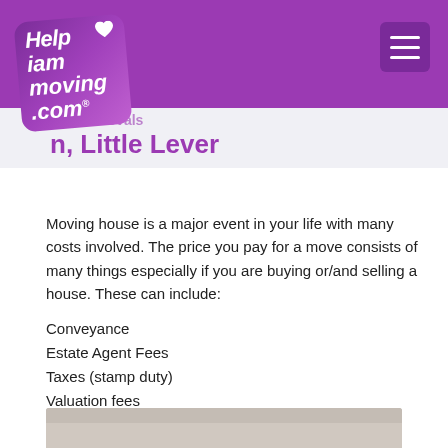helpiammoving.com
n, Little Lever
Moving house is a major event in your life with many costs involved. The price you pay for a move consists of many things especially if you are buying or/and selling a house. These can include:
Conveyance
Estate Agent Fees
Taxes (stamp duty)
Valuation fees
Surveyors fees
Cost of the removal company
[Figure (photo): Partial photo visible at bottom of page, appears to show hands or objects on a surface]